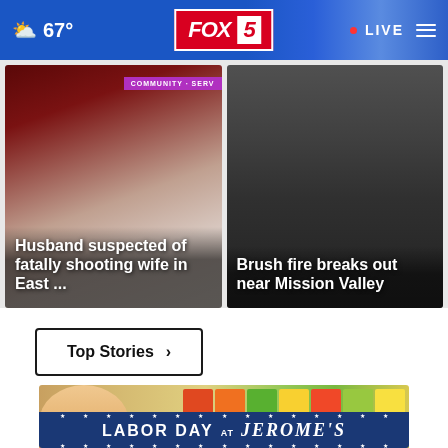67° FOX 5 LIVE
[Figure (screenshot): News card: dark red/maroon car background with COMMUNITY SERV badge. Headline: Husband suspected of fatally shooting wife in East ...]
[Figure (screenshot): News card: dark smoky outdoor scene near Mission Valley. Headline: Brush fire breaks out near Mission Valley]
Top Stories ›
[Figure (photo): Advertisement: woman in grocery store produce section with Labor Day at Jerome's banner]